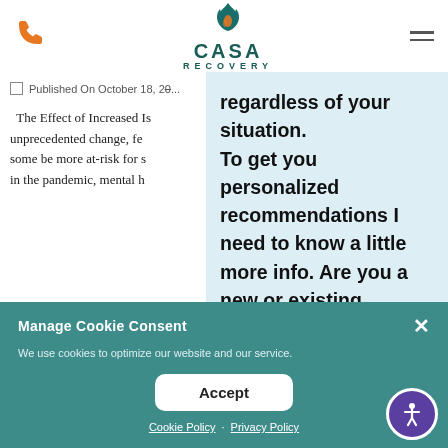[Figure (logo): CASA Recovery logo with teal lotus/flame icon and text]
CASA RECOVERY
Published On October 18, 2...
The Effect of Increased Is... unprecedented change, fe... some be more at-risk for s... in the pandemic, mental h...
regardless of your situation. To get you personalized recommendations I need to know a little more info. Are you a new or existing patient?
Manage Cookie Consent
We use cookies to optimize our website and our service.
Accept
Cookie Policy · Privacy Policy